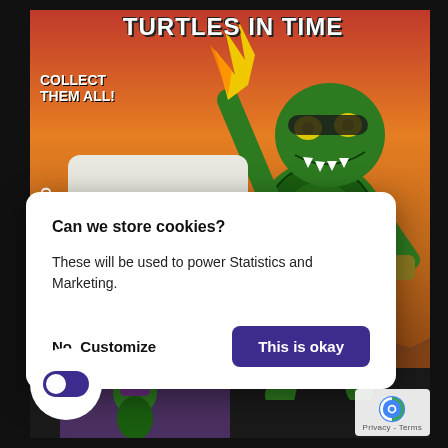[Figure (photo): Teenage Mutant Ninja Turtles action figure toy packaging background showing a large green mutant turtle figure in fighting pose with sword raised, against an orange-red sky backdrop. A smaller Leo (Leonardo) figure is shown in a white card inset on the left side. The packaging text reads 'TURTLES IN TIME' and 'COLLECT THEM ALL!' The LEO label appears vertically on the left side.]
Can we store cookies?
These will be used to power Statistics and Marketing.
No, Customize
This is okay